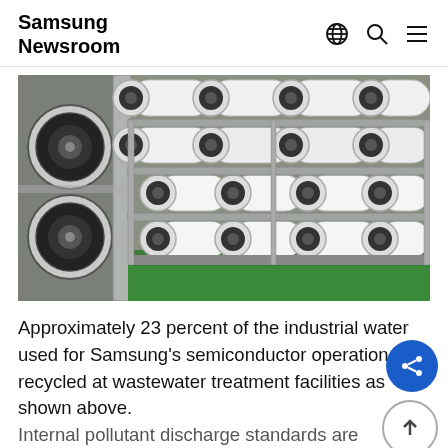Samsung Newsroom
[Figure (photo): Industrial water treatment facility showing rows of white cylindrical reverse osmosis membrane modules mounted on metal racks with stainless steel piping and a green floor]
Approximately 23 percent of the industrial water used for Samsung's semiconductor operations is recycled at wastewater treatment facilities as shown above. Internal pollutant discharge standards are